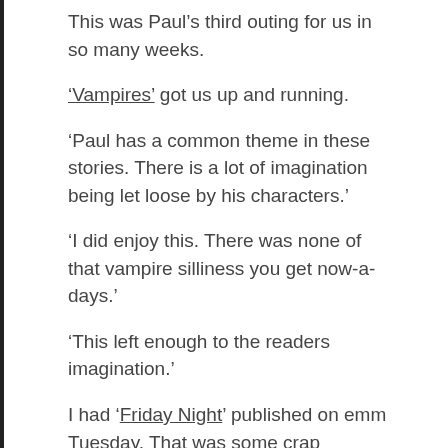This was Paul's third outing for us in so many weeks.
'Vampires' got us up and running.
'Paul has a common theme in these stories. There is a lot of imagination being let loose by his characters.'
'I did enjoy this. There was none of that vampire silliness you get now-a-days.'
'This left enough to the readers imagination.'
I had 'Friday Night' published on emm Tuesday. That was some crap planning!
Just a huge thanks to Nik and Diane for indulging me a tad!
I also got to be neighbours with Leila – That also made my